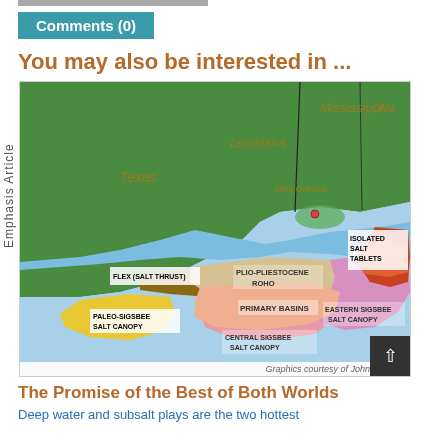Comments (0)
You may also be interested in ...
Emphasis Article
[Figure (map): Geological map of the Gulf of Mexico showing salt features: Isolated Salt Tablets, Flex (Salt Thrust), Paleo-Sigsbee Salt Canopy, Plio-Pliestocene ROHO, Primary Basins, Central Sigsbee Salt Canopy, Eastern Sigsbee Salt Canopy. States labeled: Texas, Louisiana, Mississippi, Ala. City labeled: New Orleans.]
Graphics courtesy of John M. Stoat
The Promise of the Best of Both Worlds
Deep water and subsalt plays are the two hottest